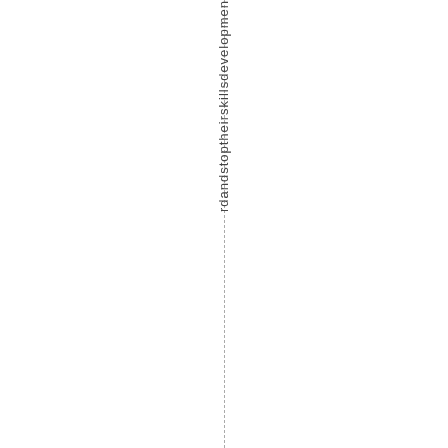rdandstoptheirskillsdevelopmen